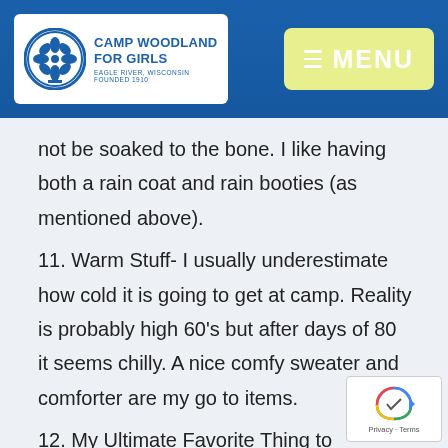Camp Woodland For Girls — Eagle River, Wisconsin, Founded 1910 | MENU
not be soaked to the bone. I like having both a rain coat and rain booties (as mentioned above).
11. Warm Stuff- I usually underestimate how cold it is going to get at camp. Reality is probably high 60's but after days of 80 it seems chilly. A nice comfy sweater and comforter are my go to items.
12. My Ultimate Favorite Thing to